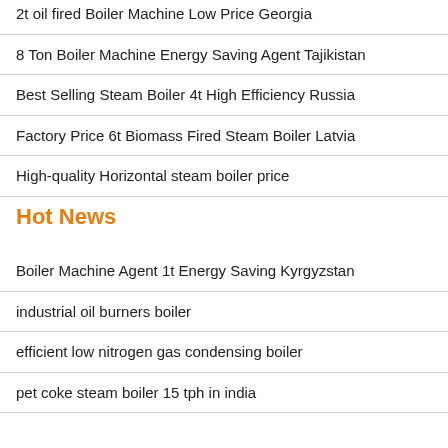2t oil fired Boiler Machine Low Price Georgia
8 Ton Boiler Machine Energy Saving Agent Tajikistan
Best Selling Steam Boiler 4t High Efficiency Russia
Factory Price 6t Biomass Fired Steam Boiler Latvia
High-quality Horizontal steam boiler price
Hot News
Boiler Machine Agent 1t Energy Saving Kyrgyzstan
industrial oil burners boiler
efficient low nitrogen gas condensing boiler
pet coke steam boiler 15 tph in india